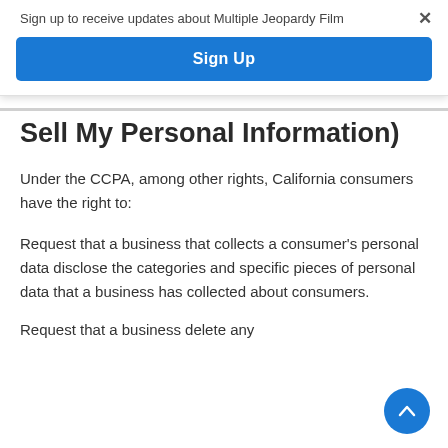Sign up to receive updates about Multiple Jeopardy Film
Sign Up
Sell My Personal Information)
Under the CCPA, among other rights, California consumers have the right to:
Request that a business that collects a consumer's personal data disclose the categories and specific pieces of personal data that a business has collected about consumers.
Request that a business delete any